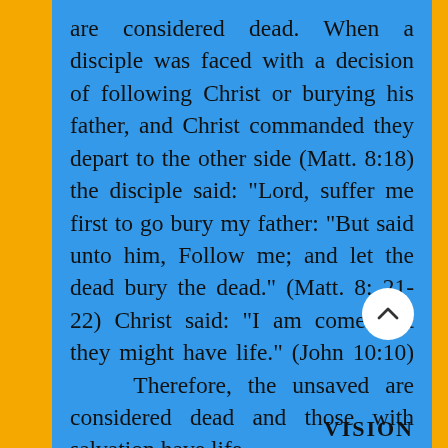are considered dead. When a disciple was faced with a decision of following Christ or burying his father, and Christ commanded they depart to the other side (Matt. 8:18) the disciple said: "Lord, suffer me first to go bury my father: "But said unto him, Follow me; and let the dead bury the dead." (Matt. 8: 21-22) Christ said: "I am come that they might have life." (John 10:10) Therefore, the unsaved are considered dead and those with salvation have life.
VISION